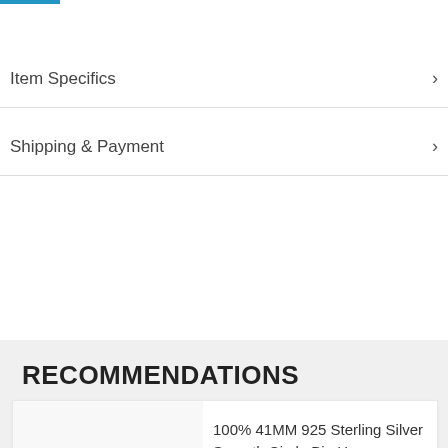Item Specifics
Shipping & Payment
RECOMMENDATIONS
100% 41MM 925 Sterling Silver Smooth Circle Big Hoop Earrings For Women Lady Fashion Charm High...
[Figure (other): Five gold stars rating]
[Figure (other): 51% OFF badge]
OIWAS Men Shoulder Bag Crossbody Bags Boys College